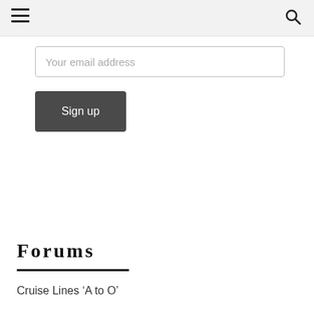Your email address
Sign up
Forums
Cruise Lines ‘A to O’